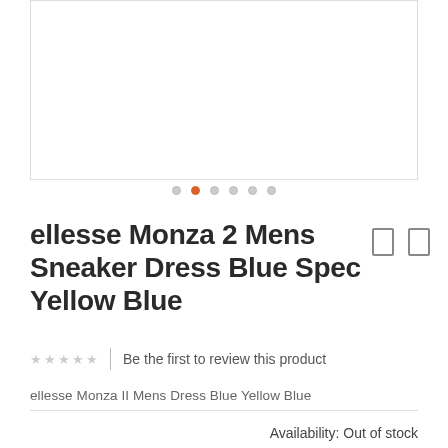[Figure (photo): Product image placeholder box (empty white box with border) for ellesse Monza 2 sneaker]
ellesse Monza 2 Mens Sneaker Dress Blue Spec Yellow Blue
Be the first to review this product
ellesse Monza II Mens Dress Blue Yellow Blue
Availability: Out of stock
SKU#:  ELL1301DY